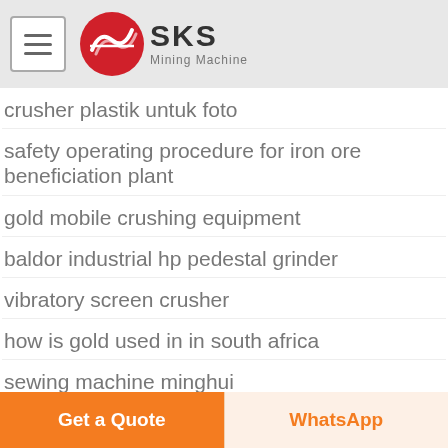SKS Mining Machine
crusher plastik untuk foto
safety operating procedure for iron ore beneficiation plant
gold mobile crushing equipment
baldor industrial hp pedestal grinder
vibratory screen crusher
how is gold used in in south africa
sewing machine minghui
lowes plants lowes plants manufacturers for sale
Get a Quote | WhatsApp